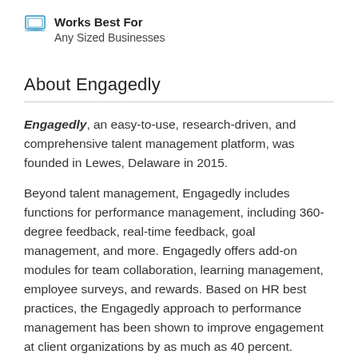Works Best For
Any Sized Businesses
About Engagedly
Engagedly, an easy-to-use, research-driven, and comprehensive talent management platform, was founded in Lewes, Delaware in 2015.
Beyond talent management, Engagedly includes functions for performance management, including 360-degree feedback, real-time feedback, goal management, and more. Engagedly offers add-on modules for team collaboration, learning management, employee surveys, and rewards. Based on HR best practices, the Engagedly approach to performance management has been shown to improve engagement at client organizations by as much as 40 percent.